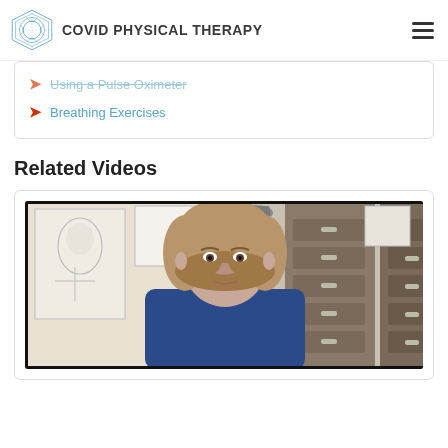COVID PHYSICAL THERAPY
Using a Pulse Oximeter
Breathing Exercises
Related Videos
[Figure (photo): Video thumbnail showing a woman with shoulder-length brown hair sitting in front of filing cabinets and framed artwork in an office setting, appearing to speak to camera.]